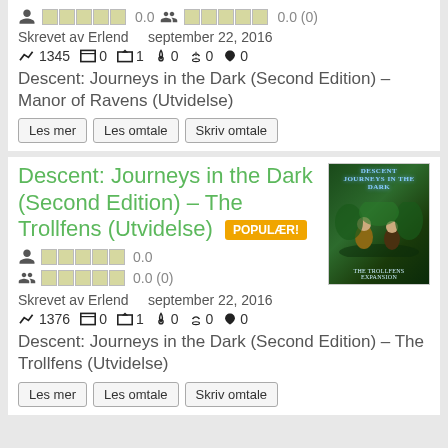0.0  0.0 (0)
Skrevet av Erlend   september 22, 2016
1345  0  1  0  0  0
Descent: Journeys in the Dark (Second Edition) – Manor of Ravens (Utvidelse)
Les mer
Les omtale
Skriv omtale
Descent: Journeys in the Dark (Second Edition) – The Trollfens (Utvidelse) POPULÆR!
[Figure (photo): Board game box cover for Descent: Journeys in the Dark – The Trollfens expansion, showing fantasy characters in a forest setting]
0.0
0.0 (0)
Skrevet av Erlend   september 22, 2016
1376  0  1  0  0  0
Descent: Journeys in the Dark (Second Edition) – The Trollfens (Utvidelse)
Les mer
Les omtale
Skriv omtale